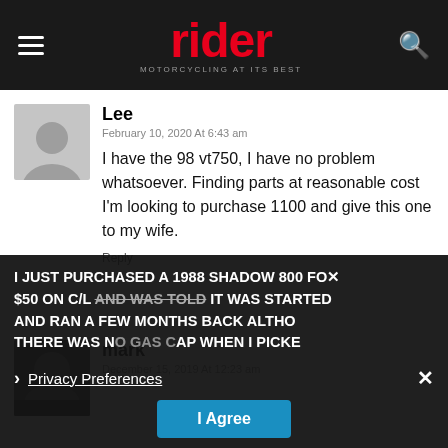[Figure (logo): Rider magazine logo — red 'rider' wordmark with tagline 'MOTORCYCLING AT ITS BEST' on dark header bar with hamburger menu and search icon]
Lee
February 10, 2020 At 6:43 am
I have the 98 vt750, I have no problem whatsoever. Finding parts at reasonable cost I'm looking to purchase 1100 and give this one to my wife.
Reply
mark
December 15, 2019 At 12:23 am
I JUST PURCHASED A 1988 SHADOW 800 FOR $50 ON C/L AND WAS TOLD IT WAS STARTED AND RAN A FEW MONTHS BACK ALTHO THERE WAS NO GAS CAP WHEN I PICKED UP SHE HAS GOOD BATTERY, AND A
Privacy Preferences
I Agree